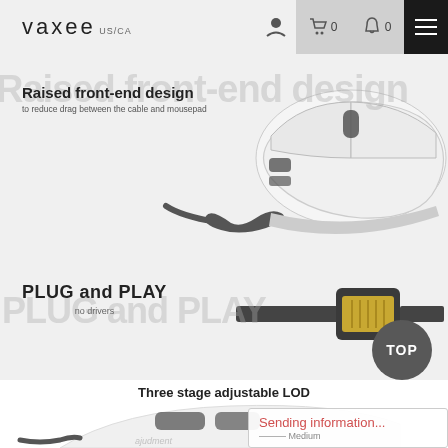VAXEE US/CA — navigation bar with logo, user icon, cart (0), bell (0), hamburger menu
[Figure (photo): White gaming mouse side view with raised front-end cable design, on light grey background]
Raised front-end design
to reduce drag between the cable and mousepad
[Figure (photo): USB connector plug on black cable, on light grey background]
PLUG and PLAY
no drivers
Three stage adjustable LOD
[Figure (photo): White gaming mouse top/front view with cable on white background]
Sending information... Medium